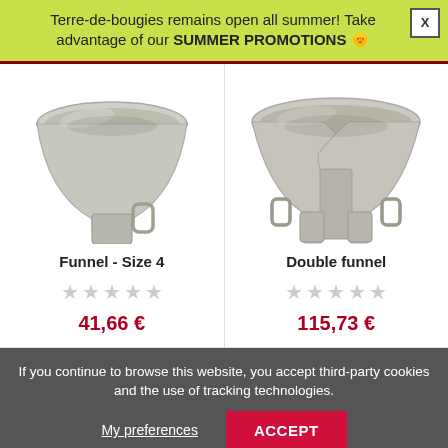Terre-de-bougies remains open all summer! Take advantage of our SUMMER PROMOTIONS 🌞
[Figure (photo): Stainless steel funnel, size 4, with handle]
Funnel - Size 4
★★★★★ (grey stars, no rating)
41,66 €
[Figure (photo): Stainless steel double funnel with two spouts and handles]
Double funnel
★★★★★ (grey stars, no rating)
115,73 €
If you continue to browse this website, you accept third-party cookies and the use of tracking technologies.
My preferences
ACCEPT